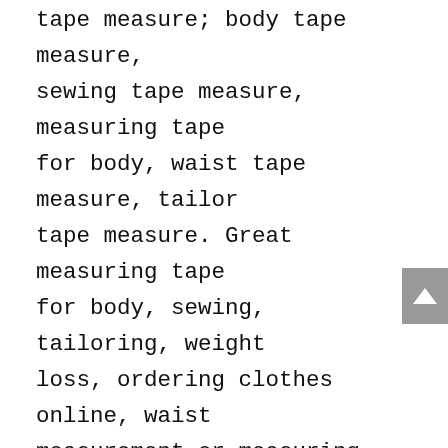tape measure; body tape measure, sewing tape measure, measuring tape for body, waist tape measure, tailor tape measure. Great measuring tape for body, sewing, tailoring, weight loss, ordering clothes online, waist measurement or measuring any curved surface.
NOTE: The black tape measure is retractable. There is a retract button in the center, just press on the button when pulling the tape out or retracting the tape back into it, or there will be loud noise.
Package includes one soft fashion pink tape measure and one retractable black tape measure. Perfect multipurpose measuring tape